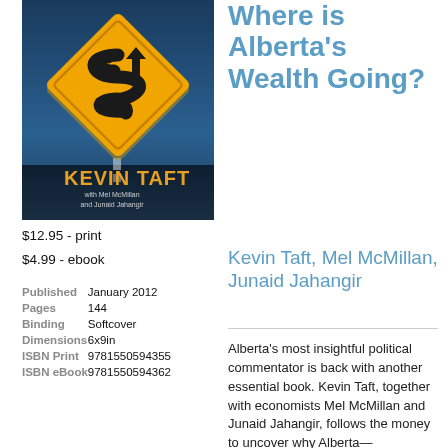[Figure (photo): Book cover of 'Money, Where is Alberta's Wealth Going?' by Kevin Taft with Mel McMillan and Junaid Jahangir. Features a yellow diamond-shaped road sign with a dollar sign on it against a blue sky background. Author name 'KEVIN TAFT' appears in large gold text at the bottom.]
$12.95 - print
$4.99 - ebook
| Published | January 2012 |
| Pages | 144 |
| Binding | Softcover |
| Dimensions | 6x9in |
| ISBN Print | 9781550594355 |
| ISBN eBook | 9781550594362 |
Browse Inside
Where is Alberta's Wealth Going?
Kevin Taft, Mel McMillan, Junaid Jahangir
Alberta's most insightful political commentator is back with another essential book. Kevin Taft, together with economists Mel McMillan and Junaid Jahangir, follows the money to uncover why Alberta—